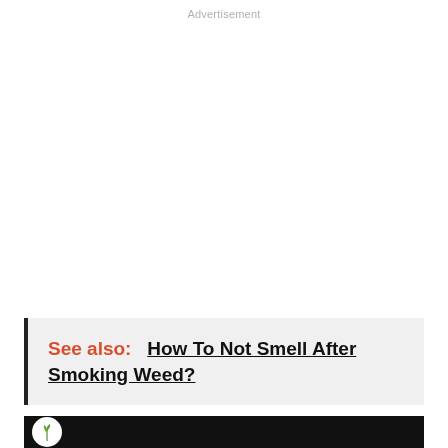Advertisement
See also:  How To Not Smell After Smoking Weed?
[Figure (other): Bottom black bar with circular white logo containing a plant/leaf illustration]